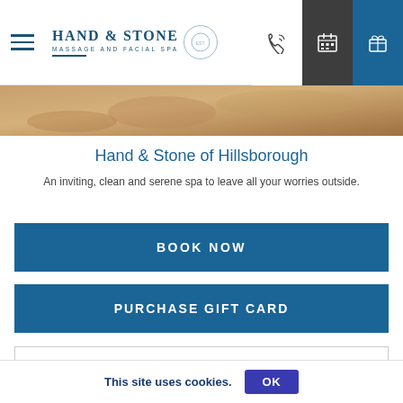Hand & Stone Massage and Facial Spa — navigation bar with logo, phone, calendar, and gift icons
[Figure (photo): Hero image strip showing warm-toned spa stones/hands close-up]
Hand & Stone of Hillsborough
An inviting, clean and serene spa to leave all your worries outside.
BOOK NOW
PURCHASE GIFT CARD
REQUEST SERVICE
This site uses cookies.  OK